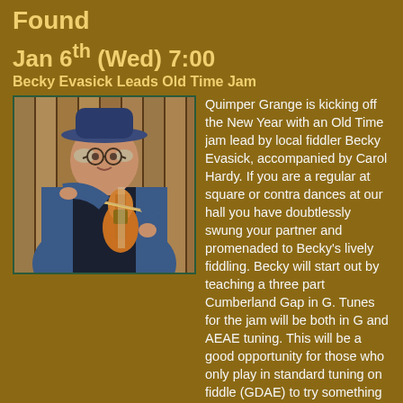Found
Jan 6th (Wed) 7:00
Becky Evasick Leads Old Time Jam
[Figure (photo): Person wearing a blue hat and glasses playing a fiddle/violin, standing in front of a wooden fence.]
Quimper Grange is kicking off the New Year with an Old Time jam lead by local fiddler Becky Evasick, accompanied by Carol Hardy. If you are a regular at square or contra dances at our hall you have doubtlessly swung your partner and promenaded to Becky's lively fiddling. Becky will start out by teaching a three part Cumberland Gap in G. Tunes for the jam will be both in G and AEAE tuning. This will be a good opportunity for those who only play in standard tuning on fiddle (GDAE) to try something new. All abilities are welcome. We are requesting